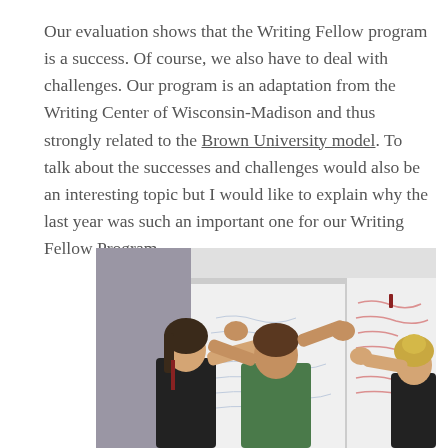Our evaluation shows that the Writing Fellow program is a success. Of course, we also have to deal with challenges. Our program is an adaptation from the Writing Center of Wisconsin-Madison and thus strongly related to the Brown University model. To talk about the successes and challenges would also be an interesting topic but I would like to explain why the last year was such an important one for our Writing Fellow Program.
[Figure (photo): Three students from behind writing on a whiteboard with red and blue marker text visible on whiteboards in a classroom setting.]